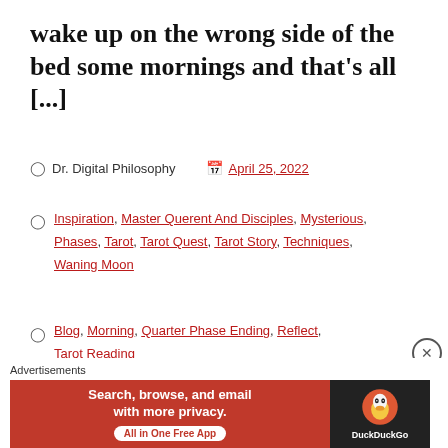wake up on the wrong side of the bed some mornings and that's all [...]
Dr. Digital Philosophy   April 25, 2022
Inspiration, Master Querent And Disciples, Mysterious, Phases, Tarot, Tarot Quest, Tarot Story, Techniques, Waning Moon
Blog, Morning, Quarter Phase Ending, Reflect, Tarot Reading
Advertisements
Search, browse, and email with more privacy. All in One Free App — DuckDuckGo